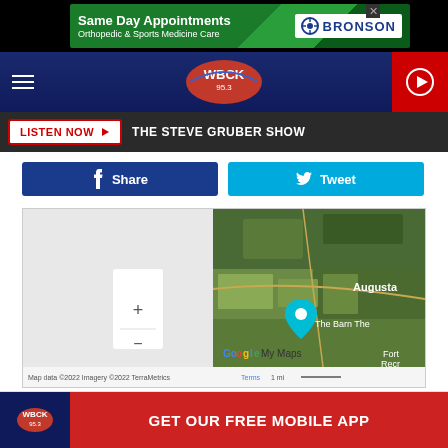[Figure (screenshot): Bronson Same Day Appointments advertisement banner - green background with white text]
[Figure (logo): WBCK 95.3 radio station logo on dark blue navigation bar with hamburger menu and red play button]
LISTEN NOW  ▶  THE STEVE GRUBER SHOW
[Figure (other): Facebook Share button (dark blue) and Twitter Tweet button (light blue)]
[Figure (map): Google My Maps showing aerial/satellite view of Augusta area with The Barn Theatre marker]
[Figure (screenshot): GET OUR FREE MOBILE APP button with WBCK app icon]